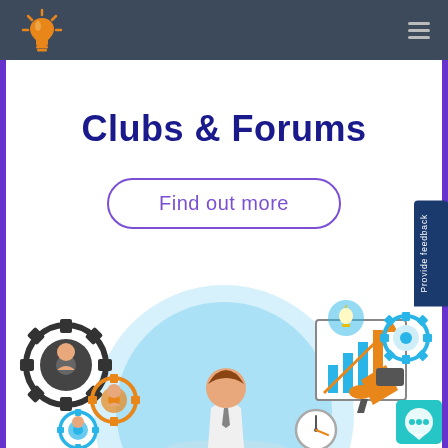Clubs & Forums website header with lightbulb logo and hamburger menu
Clubs & Forums
Find out more
[Figure (illustration): Business/community illustration showing people in gears, a presenter at a bar chart, megaphone, chat bubble, clock, lightbulb and gear icons in blue, orange and dark colors.]